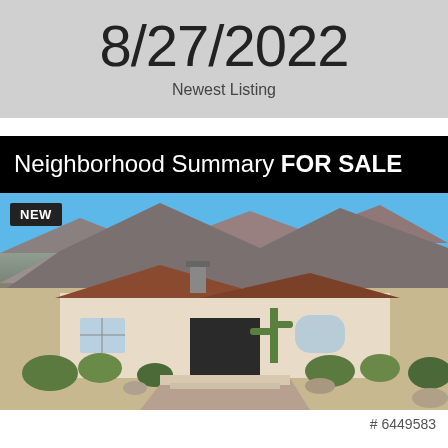8/27/2022
Newest Listing
Neighborhood Summary FOR SALE
[Figure (photo): Exterior photo of a luxury Southwest-style home with terracotta tile roof, arched windows, desert landscaping, cacti and shrubs, rocky mountain backdrop, blue sky. NEW badge in top-left corner. Listing number # 6449583 in lower right.]
# 6449583